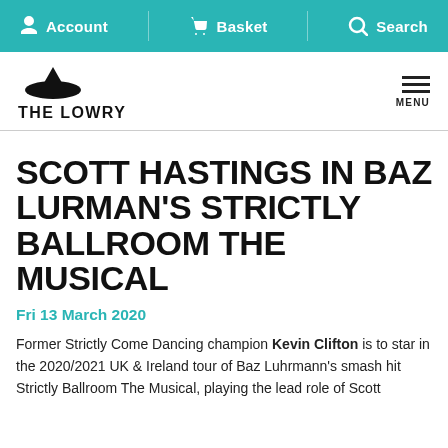Account  Basket  Search
[Figure (logo): The Lowry theatre logo with triangle and oval icon above the text 'THE LOWRY']
SCOTT HASTINGS IN BAZ LURMAN'S STRICTLY BALLROOM THE MUSICAL
Fri 13 March 2020
Former Strictly Come Dancing champion Kevin Clifton is to star in the 2020/2021 UK & Ireland tour of Baz Luhrmann's smash hit Strictly Ballroom The Musical, playing the lead role of Scott